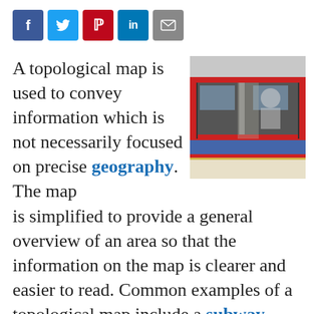[Figure (other): Social sharing icons: Facebook (blue), Twitter (light blue), Pinterest (red), LinkedIn (blue), Email (gray)]
A topological map is used to convey information which is not necessarily focused on precise geography. The map is simplified to provide a general overview of an area so that the information on the map is clearer and easier to read. Common examples of a topological map include a subway map, a map included with driving directions to a business, or a map used to represent statistics, such as Internet use in Europe or infant mortality by country. In all of these examples,
[Figure (photo): A red London Underground tube train at a station platform with doors open]